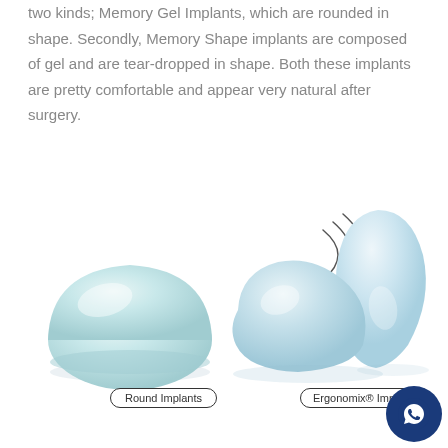two kinds; Memory Gel Implants, which are rounded in shape. Secondly, Memory Shape implants are composed of gel and are tear-dropped in shape. Both these implants are pretty comfortable and appear very natural after surgery.
[Figure (photo): Two types of breast implants shown side by side. Left: a round dome-shaped implant (Memory Gel). Right: tear-dropped shaped implants shown from multiple angles (Ergonomix Implants), with arc lines indicating movement/flexibility.]
Round Implants
Ergonomix® Implants